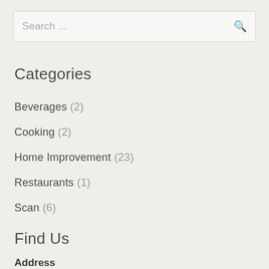Search ...
Categories
Beverages (2)
Cooking (2)
Home Improvement (23)
Restaurants (1)
Scan (6)
Find Us
Address
123 Main Street